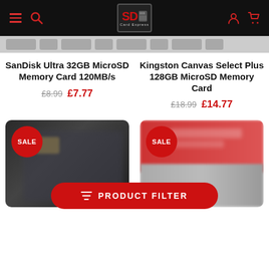[Figure (screenshot): E-commerce website header with black background, hamburger menu and search icon on left, SD Card Express logo in center, user and cart icons on right in red]
[Figure (screenshot): Category navigation strip with blurred pill-shaped category buttons]
SanDisk Ultra 32GB MicroSD Memory Card 120MB/s
£8.99  £7.77
Kingston Canvas Select Plus 128GB MicroSD Memory Card
£18.99  £14.77
[Figure (photo): SanDisk Ultra 32GB MicroSD memory card product image with SALE badge, dark card design, blurred]
[Figure (photo): Kingston Canvas Select Plus 128GB MicroSD memory card product image with SALE badge, red and grey card design, blurred]
PRODUCT FILTER